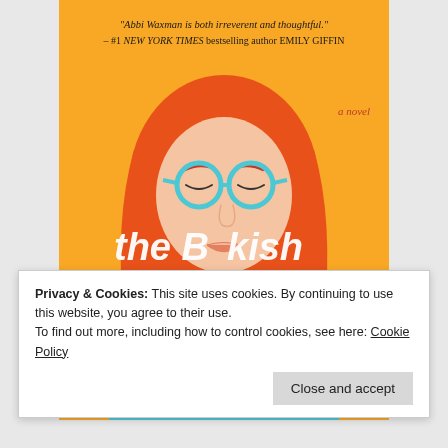[Figure (illustration): Book cover for 'The Bookish Life of' by Abbi Waxman. Yellow/orange background with illustrated woman with red hair and blue round glasses, wearing a teal striped top. White cursive text reads 'the Bookish Life of'. Top has a quote: 'Abbi Waxman is both irreverent and thoughtful.' – #1 NEW YORK TIMES bestselling author EMILY GIFFIN. Upper right says 'a novel'.]
Privacy & Cookies: This site uses cookies. By continuing to use this website, you agree to their use.
To find out more, including how to control cookies, see here: Cookie Policy
Close and accept